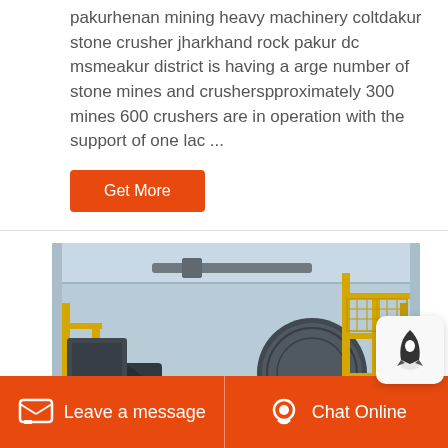pakurhenan mining heavy machinery coltdakur stone crusher jharkhand rock pakur dc msmeakur district is having a arge number of stone mines and crusherspproximately 300 mines 600 crushers are in operation with the support of one lac ...
Get More
[Figure (photo): Industrial mining heavy machinery and stone crusher equipment inside a large warehouse/factory with yellow steel structures and large cylindrical mill.]
Leave a message
Chat Online